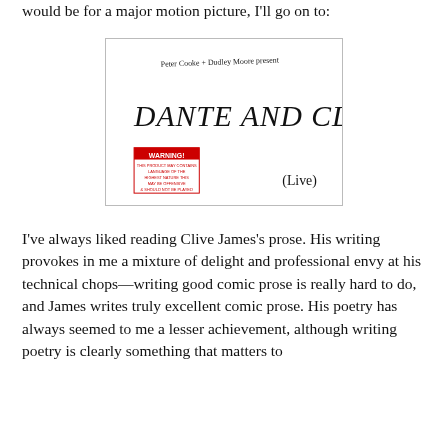would be for a major motion picture, I'll go on to:
[Figure (photo): Album cover for 'Dante and Clive (Live)' by Clive James and Pete Atkin. White background with handwritten text at top reading 'Peter Cooke + Dudley Moore present', large hand-lettered title 'DANTE AND CLIVE', a red WARNING sticker in bottom left, and '(LIVE)' in handwritten script at bottom right.]
I've always liked reading Clive James's prose. His writing provokes in me a mixture of delight and professional envy at his technical chops—writing good comic prose is really hard to do, and James writes truly excellent comic prose. His poetry has always seemed to me a lesser achievement, although writing poetry is clearly something that matters to